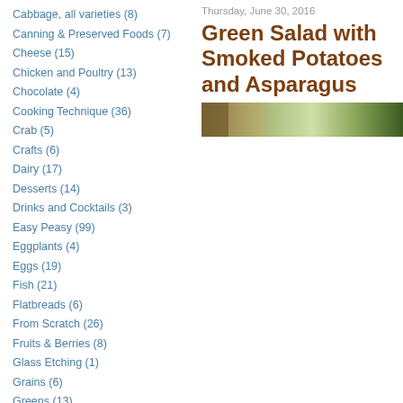Cabbage, all varieties (8)
Canning & Preserved Foods (7)
Cheese (15)
Chicken and Poultry (13)
Chocolate (4)
Cooking Technique (36)
Crab (5)
Crafts (6)
Dairy (17)
Desserts (14)
Drinks and Cocktails (3)
Easy Peasy (99)
Eggplants (4)
Eggs (19)
Fish (21)
Flatbreads (6)
From Scratch (26)
Fruits & Berries (8)
Glass Etching (1)
Grains (6)
Greens (13)
Grilling (14)
Herbs (23)
Lamb (7)
Meat (24)
Mushrooms (15)
Pasta and Noodles (9)
Thursday, June 30, 2016
Green Salad with Smoked Potatoes and Asparagus
[Figure (photo): Partial photo strip showing a green salad dish]